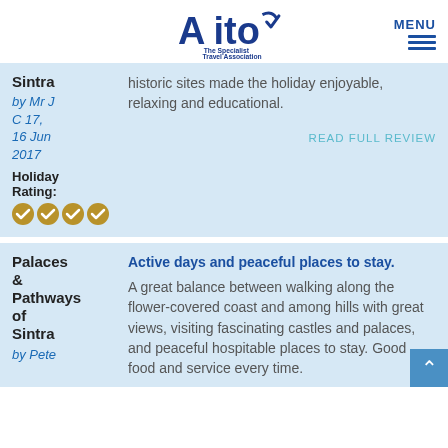[Figure (logo): AITO - The Specialist Travel Association logo with blue text and checkmark]
MENU
Sintra
by Mr J C 17, 16 Jun 2017
Holiday Rating:
historic sites made the holiday enjoyable, relaxing and educational.
READ FULL REVIEW
Palaces & Pathways of Sintra
by Pete
Active days and peaceful places to stay. A great balance between walking along the flower-covered coast and among hills with great views, visiting fascinating castles and palaces, and peaceful hospitable places to stay. Good food and service every time.